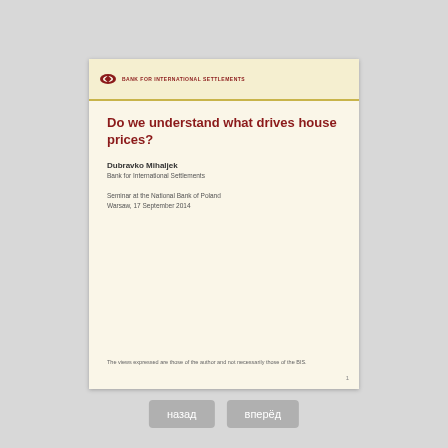[Figure (logo): BIS (Bank for International Settlements) logo — red diamond/oval shape with text 'BANK FOR INTERNATIONAL SETTLEMENTS']
Do we understand what drives house prices?
Dubravko Mihaljek
Bank for International Settlements
Seminar at the National Bank of Poland
Warsaw, 17 September 2014
The views expressed are those of the author and not necessarily those of the BIS.
1